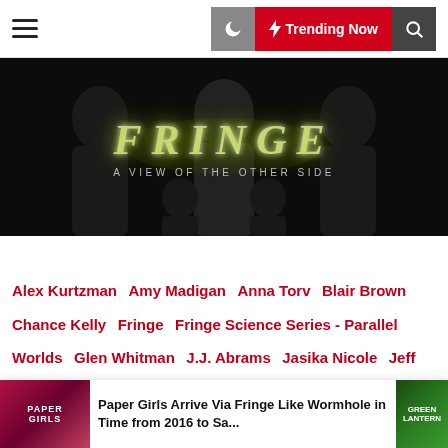☰  🌙  ⚡ Trending Now  🔍
[Figure (photo): Fringe TV show promotional banner with dark background showing cast silhouettes and glowing green text 'FRINGE - A VIEW OF THE OTHER SIDE']
Alex Kurtzman
Amy Madigan
Anna Torv
Blair Brown
Chance Kelly
Fringe
Fringe Science Series - Parallel Worlds
Glen Whitman
J.J. Abrams
Jasika Nicole
Jeff Pinkner
Jeff Vlaming
John Noble
Joshua Jackson
Kevin Weisman
Kirk Acevedo
Lance Reddick
Leonard Nimoy
Michael Cerveris
Robert Chiappetta
Roberto Orci
Ryan McDonald
Science Series
Seth Gabel
Star Trek
Stargate
Paper Girls Arrive Via Fringe Like Wormhole in Time from 2016 to Sa...